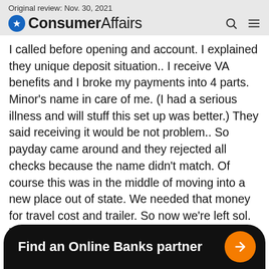Original review: Nov. 30, 2021
[Figure (logo): ConsumerAffairs logo with blue star icon and navigation icons]
I called before opening and account. I explained they unique deposit situation.. I receive VA benefits and I broke my payments into 4 parts. Minor's name in care of me. (I had a serious illness and will stuff this set up was better.) They said receiving it would be not problem.. So payday came around and they rejected all checks because the name didn't match. Of course this was in the middle of moving into a new place out of state. We needed that money for travel cost and trailer. So now we're left sol. Till the VA sends out the check. We're supposed to be out in 3 days.
[Figure (infographic): Black rounded banner with text 'Find an Online Banks partner' and orange arrow button]